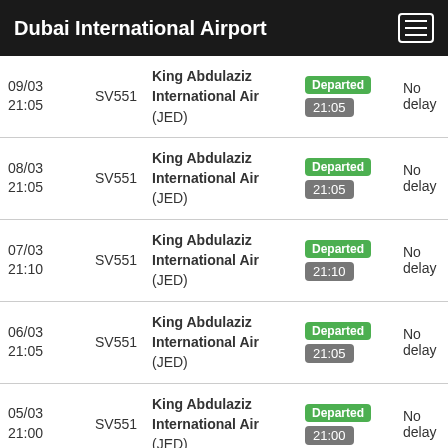Dubai International Airport
| Date/Time | Flight | Destination | Status | Delay |
| --- | --- | --- | --- | --- |
| 09/03
21:05 | SV551 | King Abdulaziz International Air (JED) | Departed 21:05 | No delay |
| 08/03
21:05 | SV551 | King Abdulaziz International Air (JED) | Departed 21:05 | No delay |
| 07/03
21:10 | SV551 | King Abdulaziz International Air (JED) | Departed 21:10 | No delay |
| 06/03
21:05 | SV551 | King Abdulaziz International Air (JED) | Departed 21:05 | No delay |
| 05/03
21:00 | SV551 | King Abdulaziz International Air (JED) | Departed 21:00 | No delay |
| 04/03
21:05 | SV551 | King Abdulaziz International Air (JED) | Departed 21:05 | No delay |
| 03/03 | SV551 | King Abdulaziz International Air (JED) | Departed | No delay |